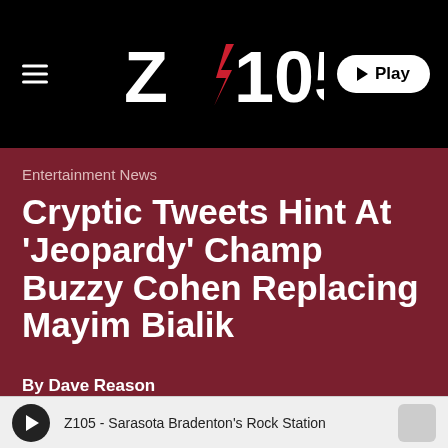Z105 - header bar with logo and Play button
Entertainment News
Cryptic Tweets Hint At 'Jeopardy' Champ Buzzy Cohen Replacing Mayim Bialik
By Dave Reason
Z105 - Sarasota Bradenton's Rock Station